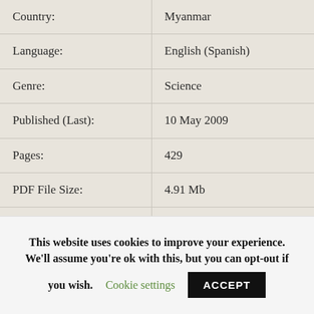| Field | Value |
| --- | --- |
| Country: | Myanmar |
| Language: | English (Spanish) |
| Genre: | Science |
| Published (Last): | 10 May 2009 |
| Pages: | 429 |
| PDF File Size: | 4.91 Mb |
| ePub File Size: | 4.75 Mb |
| ISBN: | 950-1-54478-589-4 |
This website uses cookies to improve your experience. We'll assume you're ok with this, but you can opt-out if you wish. Cookie settings ACCEPT